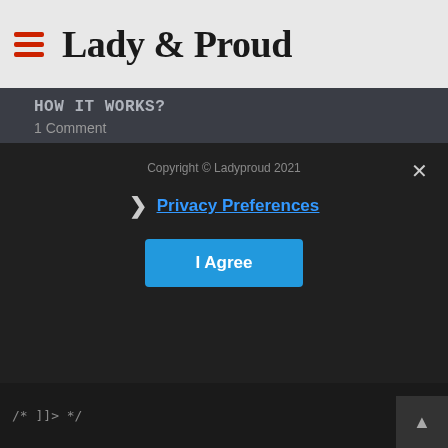Lady & Proud
How It Works?
1 Comment
[Figure (photo): Various protein foods including meat, fish, eggs, nuts, with a chalkboard sign reading 'Protein']
The New Elixir of Life... Why have diets become...
Add Comment
[Figure (photo): Hands holding a glucose meter, diabetes testing scene with blurred green background]
These are precursors to diabetes
Add Comment
Copyright © Ladyproud 2021
Privacy Preferences
I Agree